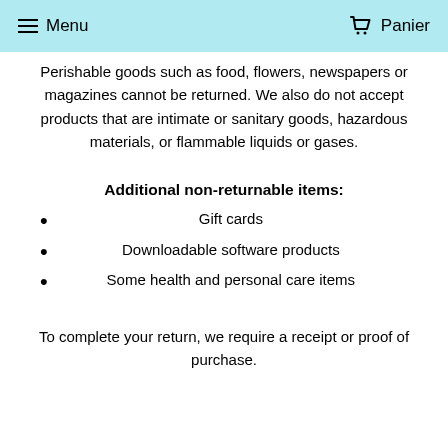Menu  Panier
Perishable goods such as food, flowers, newspapers or magazines cannot be returned. We also do not accept products that are intimate or sanitary goods, hazardous materials, or flammable liquids or gases.
Additional non-returnable items:
Gift cards
Downloadable software products
Some health and personal care items
To complete your return, we require a receipt or proof of purchase.